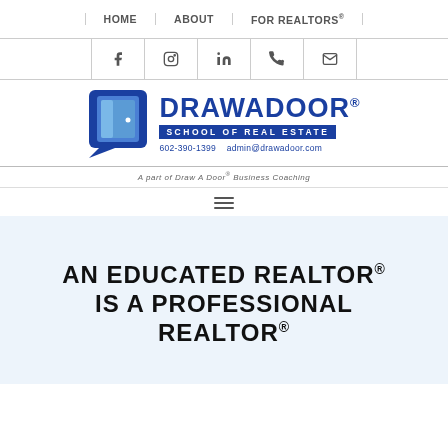HOME | ABOUT | FOR REALTORS®
[Figure (screenshot): Social media icons bar: Facebook, Instagram, LinkedIn, Phone, Email]
[Figure (logo): Draw A Door® School of Real Estate logo with door icon, phone 602-390-1399, email admin@drawadoor.com, tagline: A part of Draw A Door® Business Coaching]
[Figure (other): Hamburger menu icon (three horizontal lines)]
AN EDUCATED REALTOR® IS A PROFESSIONAL REALTOR®